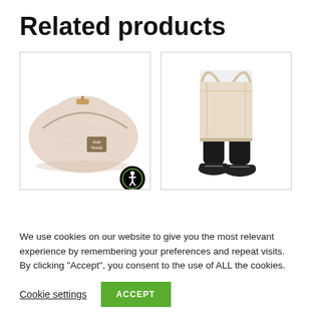Related products
[Figure (photo): A light pink/cream colored fabric cosmetic/toiletry bag with a zipper and a Fairtrade label tag, shown on white background. A Fairtrade certification logo appears in the bottom right corner of the product image box.]
[Figure (photo): A person wearing black leggings and black shoes holding a natural canvas/cotton tote bag by its handles, shown on white background. Only the lower body of the person is visible.]
We use cookies on our website to give you the most relevant experience by remembering your preferences and repeat visits. By clicking "Accept", you consent to the use of ALL the cookies.
Cookie settings
ACCEPT